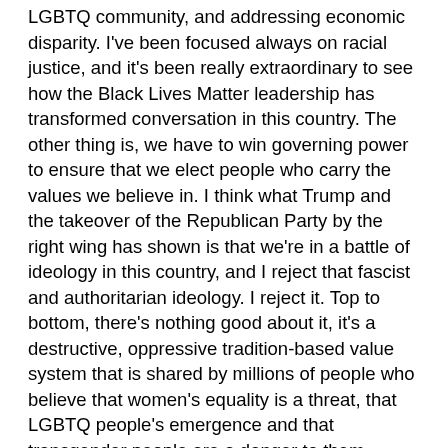LGBTQ community, and addressing economic disparity. I've been focused always on racial justice, and it's been really extraordinary to see how the Black Lives Matter leadership has transformed conversation in this country. The other thing is, we have to win governing power to ensure that we elect people who carry the values we believe in. I think what Trump and the takeover of the Republican Party by the right wing has shown is that we're in a battle of ideology in this country, and I reject that fascist and authoritarian ideology. I reject it. Top to bottom, there's nothing good about it, it's a destructive, oppressive tradition-based value system that is shared by millions of people who believe that women's equality is a threat, that LGBTQ people's emergence and that transgender people are a danger to them. Millions of people actually believe that they're not racist, but they do not understand the privileging of whiteness in this country. Trump is a genius at exploiting these cultural threads to build political power and I think there's a very good chance over the next four years that he will be the nominee again and we have to do everything in our power to defeat those